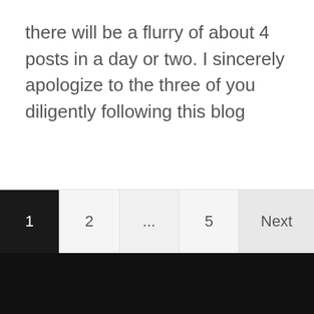there will be a flurry of about 4 posts in a day or two. I sincerely apologize to the three of you diligently following this blog
Proudly powered by WordPress | Theme: Syd by aThemes.